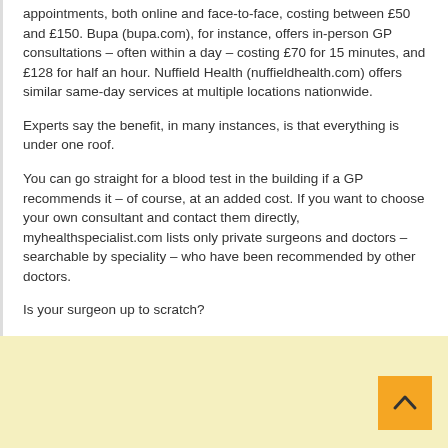appointments, both online and face-to-face, costing between £50 and £150. Bupa (bupa.com), for instance, offers in-person GP consultations – often within a day – costing £70 for 15 minutes, and £128 for half an hour. Nuffield Health (nuffieldhealth.com) offers similar same-day services at multiple locations nationwide.
Experts say the benefit, in many instances, is that everything is under one roof.
You can go straight for a blood test in the building if a GP recommends it – of course, at an added cost. If you want to choose your own consultant and contact them directly, myhealthspecialist.com lists only private surgeons and doctors – searchable by speciality – who have been recommended by other doctors.
Is your surgeon up to scratch?